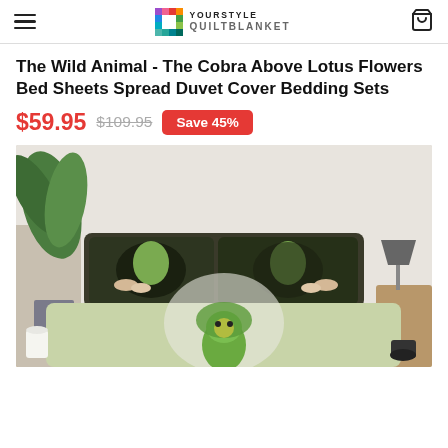YOURSTYLE QUILTBLANKET
The Wild Animal - The Cobra Above Lotus Flowers Bed Sheets Spread Duvet Cover Bedding Sets
$59.95  $109.95  Save 45%
[Figure (photo): Product photo of cobra-themed bedding set displayed on a bed in a bedroom setting with plants and lamp visible]